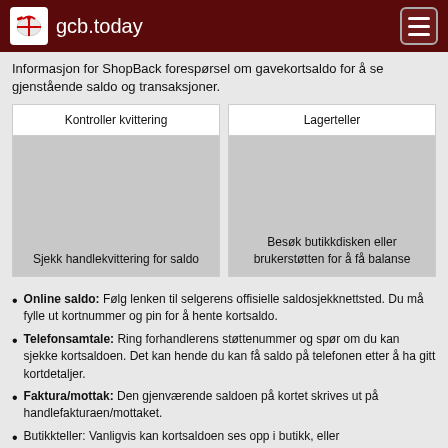gcb.today
Informasjon for ShopBack forespørsel om gavekortsaldo for å se gjenstående saldo og transaksjoner.
[Figure (infographic): Two cards side by side: 'Kontroller kvittering' with grey image area and text 'Sjekk handlekvittering for saldo', and 'Lagerteller' with grey image area and text 'Besøk butikkdisken eller brukerstøtten for å få balanse']
Online saldo: Følg lenken til selgerens offisielle saldosjekknettsted. Du må fylle ut kortnummer og pin for å hente kortsaldo.
Telefonsamtale: Ring forhandlerens støttenummer og spør om du kan sjekke kortsaldoen. Det kan hende du kan få saldo på telefonen etter å ha gitt kortdetaljer.
Faktura/mottak: Den gjenværende saldoen på kortet skrives ut på handlefakturaen/mottaket.
Butikkteller: Vanligvis kan kortsaldoen ses opp i butikk, eller